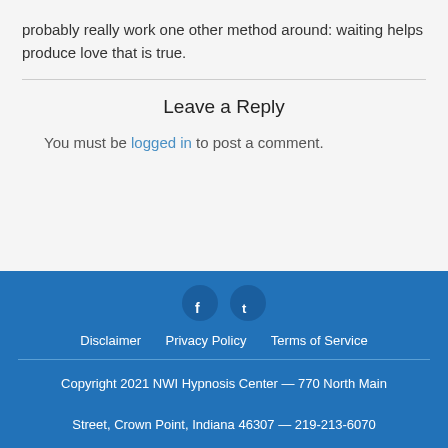probably really work one other method around: waiting helps produce love that is true.
Leave a Reply
You must be logged in to post a comment.
Disclaimer  Privacy Policy  Terms of Service
Copyright 2021 NWI Hypnosis Center — 770 North Main Street, Crown Point, Indiana 46307 — 219-213-6070